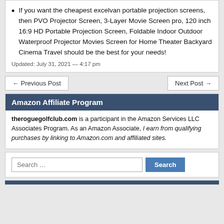If you want the cheapest excelvan portable projection screens, then PVO Projector Screen, 3-Layer Movie Screen pro, 120 inch 16:9 HD Portable Projection Screen, Foldable Indoor Outdoor Waterproof Projector Movies Screen for Home Theater Backyard Cinema Travel should be the best for your needs!
Updated: July 31, 2021 — 4:17 pm
← Previous Post
Next Post →
Amazon Affiliate Program
theroguegolfclub.com is a participant in the Amazon Services LLC Associates Program. As an Amazon Associate, I earn from qualifying purchases by linking to Amazon.com and affiliated sites.
Search …